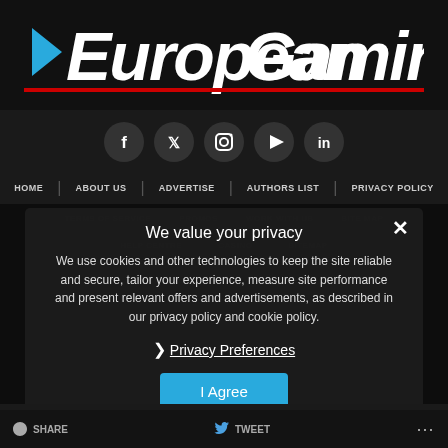[Figure (logo): European Gaming logo - white italic text with blue lightning bolt E and red underline on dark background]
[Figure (infographic): Social media icon row: Facebook, Twitter, Instagram, YouTube, LinkedIn - dark circular buttons]
HOME   ABOUT US   ADVERTISE   AUTHORS LIST   PRIVACY POLICY
TERMS OF SERVICE   PROMOS   WORK WITH US   SITE MAP
HELP CENTRE   CASINO   SITEMAP
We value your privacy
We use cookies and other technologies to keep the site reliable and secure, tailor your experience, measure site performance and present relevant offers and advertisements, as described in our privacy policy and cookie policy.
❯ Privacy Preferences
I Agree
SHARE   TWEET   ...